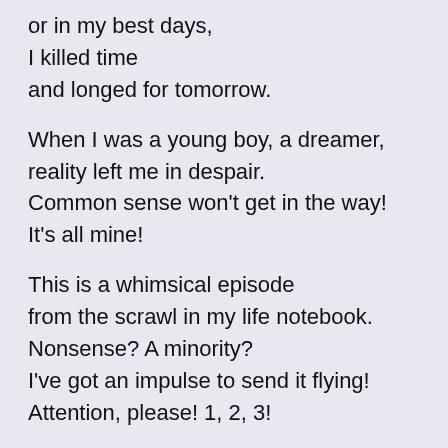or in my best days,
I killed time
and longed for tomorrow.
When I was a young boy, a dreamer,
reality left me in despair.
Common sense won't get in the way!
It's all mine!
This is a whimsical episode
from the scrawl in my life notebook.
Nonsense? A minority?
I've got an impulse to send it flying!
Attention, please! 1, 2, 3!